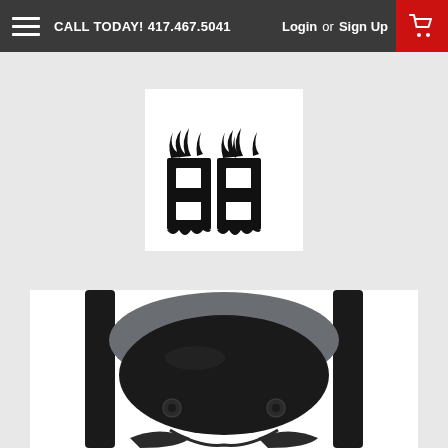CALL TODAY! 417.467.5041  Login or Sign Up
[Figure (logo): Flame-styled letter logo in black and white on white background]
[Figure (photo): Top-down view of a black folding chair showing seat cushion and frame hardware]